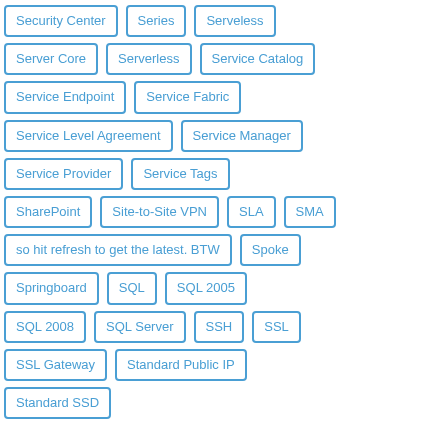Security Center
Series
Serveless
Server Core
Serverless
Service Catalog
Service Endpoint
Service Fabric
Service Level Agreement
Service Manager
Service Provider
Service Tags
SharePoint
Site-to-Site VPN
SLA
SMA
so hit refresh to get the latest. BTW
Spoke
Springboard
SQL
SQL 2005
SQL 2008
SQL Server
SSH
SSL
SSL Gateway
Standard Public IP
Standard SSD